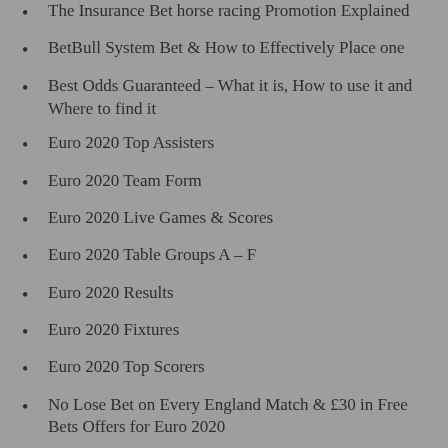The Insurance Bet horse racing Promotion Explained
BetBull System Bet & How to Effectively Place one
Best Odds Guaranteed – What it is, How to use it and Where to find it
Euro 2020 Top Assisters
Euro 2020 Team Form
Euro 2020 Live Games & Scores
Euro 2020 Table Groups A – F
Euro 2020 Results
Euro 2020 Fixtures
Euro 2020 Top Scorers
No Lose Bet on Every England Match & £30 in Free Bets Offers for Euro 2020